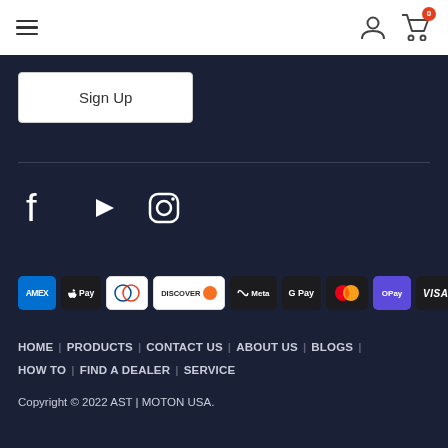Navigation bar with hamburger menu, user icon, and cart (0)
[Figure (illustration): Sign Up button (white rounded rectangle)]
[Figure (illustration): Social media icons: Facebook, YouTube, Instagram]
[Figure (illustration): Payment method icons: AMEX, Apple Pay, Diners, Discover, Meta, Google Pay, Mastercard, Shopify Pay, Visa]
HOME | PRODUCTS | CONTACT US | ABOUT US | BLOGS | HOW TO | FIND A DEALER | SERVICE
Copyright © 2022 AST | MOTON USA.